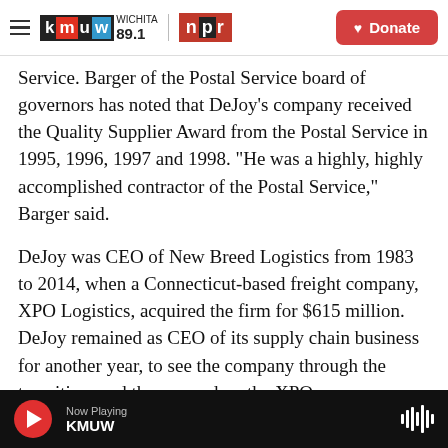KMUW Wichita 89.1 | NPR | Donate
Service. Barger of the Postal Service board of governors has noted that DeJoy's company received the Quality Supplier Award from the Postal Service in 1995, 1996, 1997 and 1998. "He was a highly, highly accomplished contractor of the Postal Service," Barger said.
DeJoy was CEO of New Breed Logistics from 1983 to 2014, when a Connecticut-based freight company, XPO Logistics, acquired the firm for $615 million. DeJoy remained as CEO of its supply chain business for another year, to see the company through the transition, and then served on the XPO
Now Playing KMUW